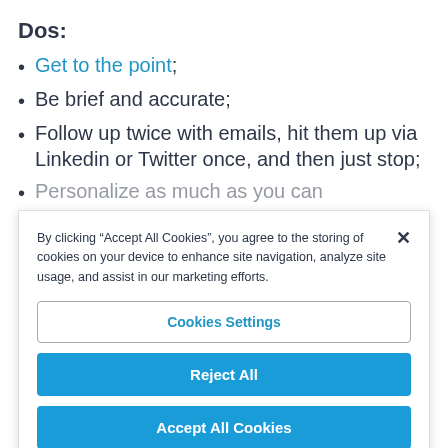Dos:
Get to the point;
Be brief and accurate;
Follow up twice with emails, hit them up via Linkedin or Twitter once, and then just stop;
Personalize as much as you can
By clicking “Accept All Cookies”, you agree to the storing of cookies on your device to enhance site navigation, analyze site usage, and assist in our marketing efforts.
Cookies Settings
Reject All
Accept All Cookies